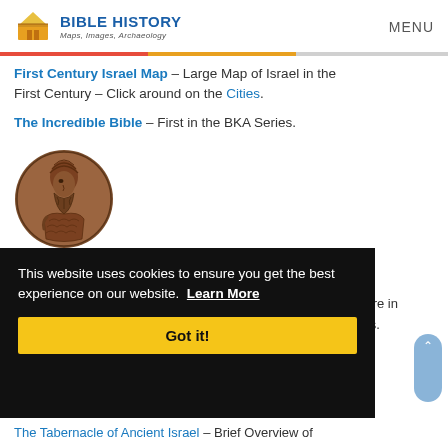BIBLE HISTORY Maps, Images, Archaeology | MENU
First Century Israel Map – Large Map of Israel in the First Century – Click around on the Cities.
The Incredible Bible – First in the BKA Series.
[Figure (photo): Circular bas-relief coin or medallion depicting an ancient Assyrian figure with detailed headdress, viewed from the side]
This website uses cookies to ensure you get the best experience on our website. Learn More
Got it!
The Tabernacle of Ancient Israel – Brief Overview of